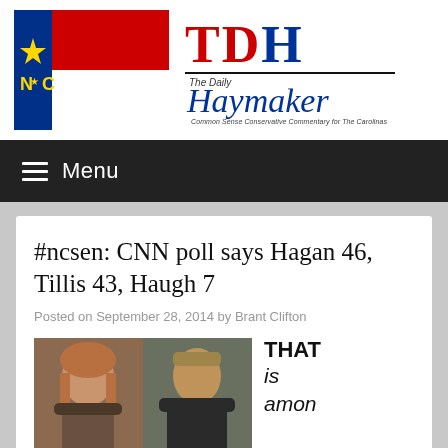[Figure (photo): The Daily Haymaker website header with North Carolina flag on the left and TDH logo with cursive Haymaker text and tagline on the right]
Menu
#ncsen: CNN poll says Hagan 46, Tillis 43, Haugh 7
Posted on September 28, 2014 by Brant Clifton
[Figure (photo): Photo of a woman and a man side by side, political candidates Hagan and Tillis]
THAT is amon